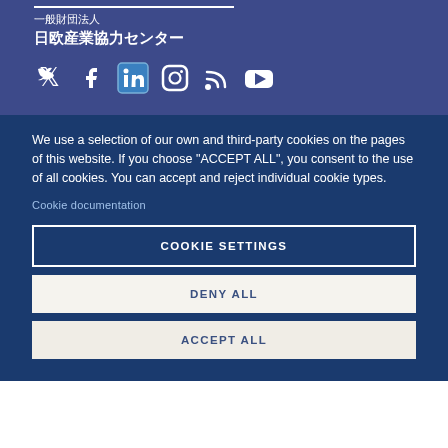一般財団法人
日欧産業協力センター
[Figure (illustration): Social media icons row: Twitter, Facebook, LinkedIn, Instagram, RSS, YouTube]
We use a selection of our own and third-party cookies on the pages of this website. If you choose "ACCEPT ALL", you consent to the use of all cookies. You can accept and reject individual cookie types.
Cookie documentation
COOKIE SETTINGS
DENY ALL
ACCEPT ALL